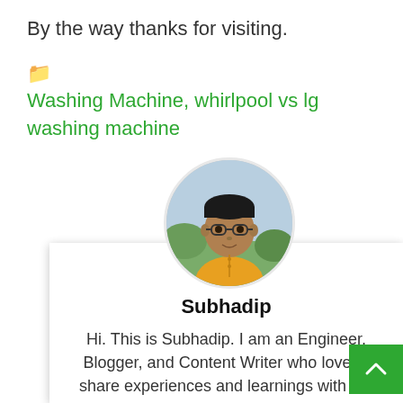By the way thanks for visiting.
📁 Washing Machine, whirlpool vs lg washing machine
[Figure (photo): Circular avatar photo of Subhadip, a young man wearing a yellow kurta and glasses, outdoors with trees in background.]
Subhadip
Hi. This is Subhadip. I am an Engineer, Blogger, and Content Writer who love to share experiences and learnings with the readers. I have been researching different appliances for more than 2 years to get an